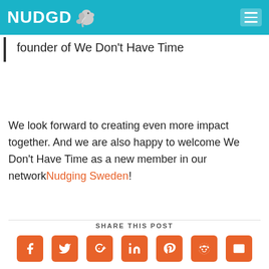NUDGD
founder of We Don't Have Time
We look forward to creating even more impact together. And we are also happy to welcome We Don't Have Time as a new member in our networkNudging Sweden!
SHARE THIS POST
[Figure (infographic): Social sharing icons: Facebook, Twitter, Google+, LinkedIn, Pinterest, Reddit, Email — all in orange rounded squares]